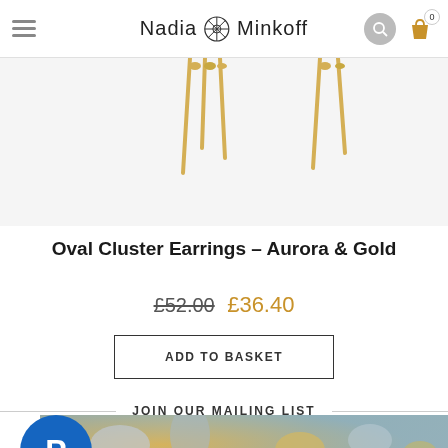Nadia Minkoff
[Figure (photo): Gold dangle earrings displayed on white background, showing thin gold bar drop elements]
Oval Cluster Earrings – Aurora & Gold
£52.00 £36.40
ADD TO BASKET
JOIN OUR MAILING LIST
[Figure (photo): Blurred jewelry/gift background image with gold and silver tones]
[Figure (logo): PayPal circular blue button with white P logo]